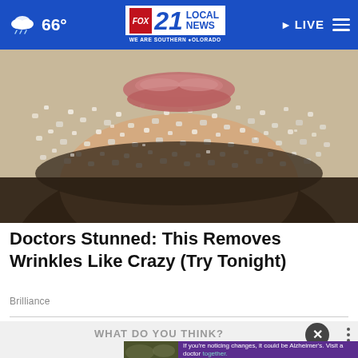66° | FOX 21 LOCAL NEWS – WE ARE SOUTHERN COLORADO | LIVE
[Figure (photo): Close-up photo of a person's lower face and chin covered in coarse salt or sugar crystals, with lips visible above.]
Doctors Stunned: This Removes Wrinkles Like Crazy (Try Tonight)
Brilliance
WHAT DO YOU THINK?
Do yo Giulia
If you're noticing changes, it could be Alzheimer's. Visit a doctor together.